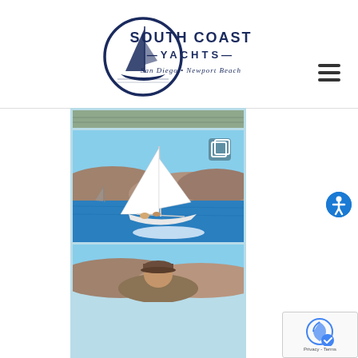[Figure (logo): South Coast Yachts logo with sailboat in circle and text: SOUTH COAST YACHTS San Diego • Newport Beach]
[Figure (photo): Hamburger/navigation menu icon with three horizontal dark lines]
[Figure (photo): Top strip of a partially visible photo]
[Figure (photo): Sailboat racing on blue water with hills in background and people on deck, with copy icon overlay]
[Figure (photo): Person in cap with hills in background, partially visible]
[Figure (other): Blue circular accessibility icon with person symbol]
[Figure (other): reCAPTCHA Privacy - Terms badge]